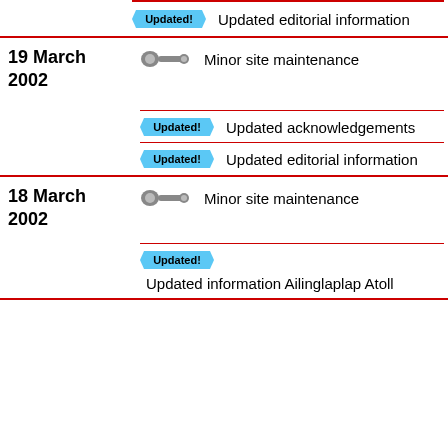Updated editorial information
19 March 2002
Minor site maintenance
Updated acknowledgements
Updated editorial information
18 March 2002
Minor site maintenance
Updated information Ailinglaplap Atoll